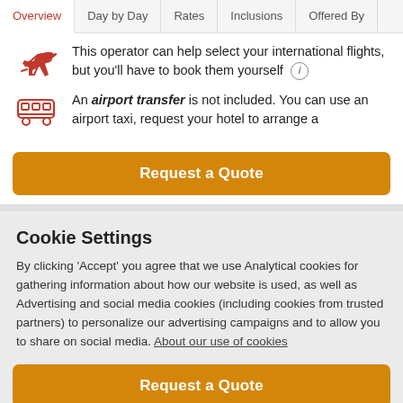Overview | Day by Day | Rates | Inclusions | Offered By
This operator can help select your international flights, but you'll have to book them yourself (i)
An airport transfer is not included. You can use an airport taxi, request your hotel to arrange a
Request a Quote
Cookie Settings
By clicking 'Accept' you agree that we use Analytical cookies for gathering information about how our website is used, as well as Advertising and social media cookies (including cookies from trusted partners) to personalize our advertising campaigns and to allow you to share on social media. About our use of cookies
Request a Quote